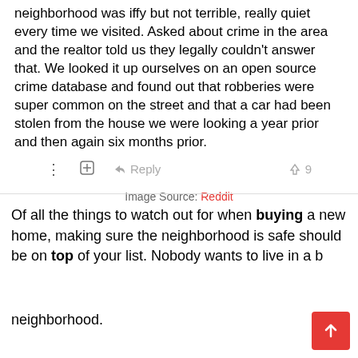neighborhood was iffy but not terrible, really quiet every time we visited. Asked about crime in the area and the realtor told us they legally couldn't answer that. We looked it up ourselves on an open source crime database and found out that robberies were super common on the street and that a car had been stolen from the house we were looking a year prior and then again six months prior.
Image Source: Reddit
Of all the things to watch out for when buying a new home, making sure the neighborhood is safe should be on top of your list. Nobody wants to live in a b... neighborhood.